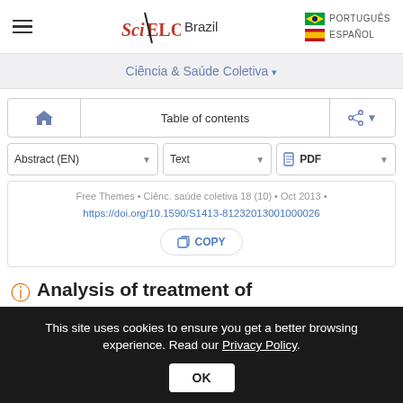SciELO Brazil | PORTUGUÊS | ESPAÑOL
Ciência & Saúde Coletiva
Table of contents
Abstract (EN) | Text | PDF
Free Themes • Ciênc. saúde coletiva 18 (10) • Oct 2013 • https://doi.org/10.1590/S1413-81232013001000026
COPY
Analysis of treatment of
This site uses cookies to ensure you get a better browsing experience. Read our Privacy Policy.